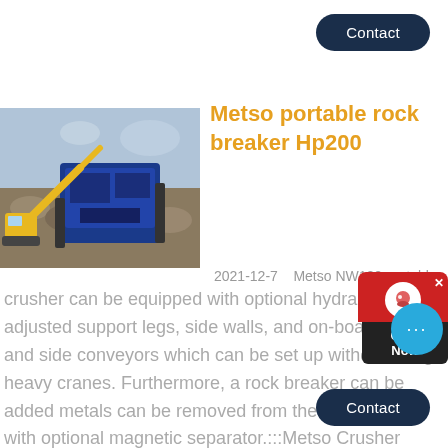Contact
Metso portable rock breaker Hp200
[Figure (photo): Yellow excavator and blue portable rock crusher/screening equipment at a mining or quarry site]
2021-12-7   Metso NW120 portable crusher can be equipped with optional hydraulically adjusted support legs, side walls, and on-board main and side conveyors which can be set up without using heavy cranes. Furthermore, a rock breaker can be added metals can be removed from the end product with optional magnetic separator.:::Metso Crusher
Contact